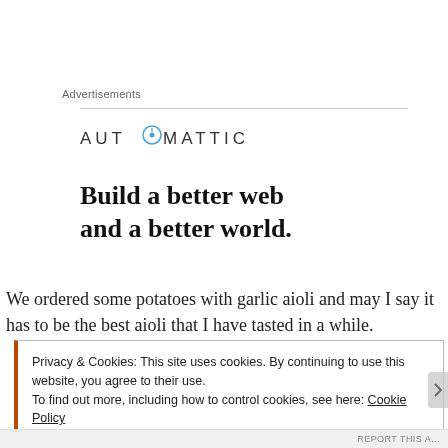Advertisements
[Figure (logo): Automattic logo with compass icon replacing the 'O' in AUTOMATTIC]
Build a better web and a better world.
We ordered some potatoes with garlic aioli and may I say it has to be the best aioli that I have tasted in a while.
Privacy & Cookies: This site uses cookies. By continuing to use this website, you agree to their use.
To find out more, including how to control cookies, see here: Cookie Policy
Close and accept
REPORT THIS A...